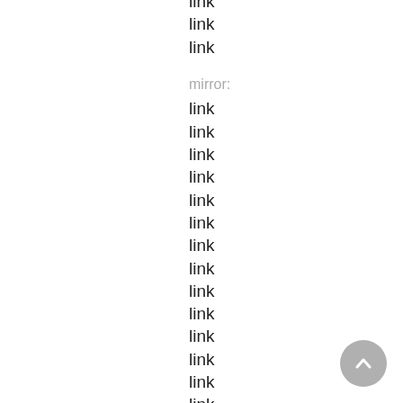link
link
link
mirror:
link
link
link
link
link
link
link
link
link
link
link
link
link
link
link
link